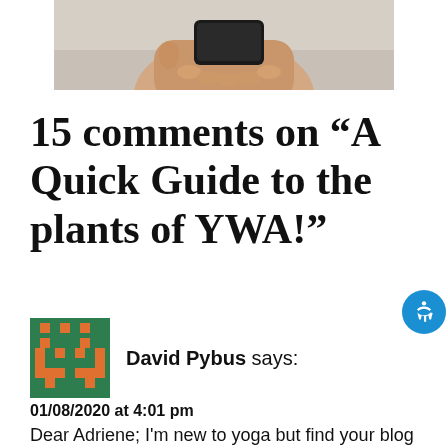[Figure (photo): Cropped photo of a hand holding a smartphone, viewed from above against a light background.]
15 comments on “A Quick Guide to the plants of YWA!”
[Figure (illustration): Pixel art avatar icon with green background and orange geometric pattern, used as commenter avatar for David Pybus.]
David Pybus says:
01/08/2020 at 4:01 pm
Dear Adriene; I'm new to yoga but find your blog and youtube videos inspiring. I have enjoyed reading your blog. It's cold and wet in England at the moment. My yoga teacher has a large